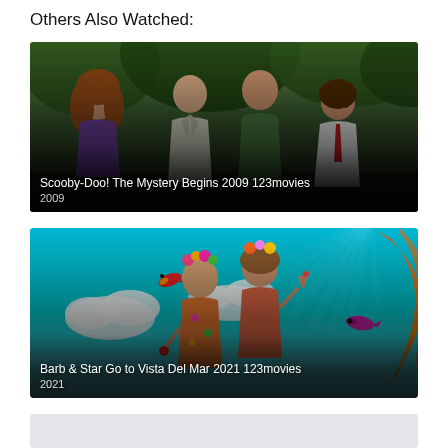Others Also Watched:
[Figure (photo): Movie thumbnail for Scooby-Doo! The Mystery Begins 2009 123movies showing four characters standing outdoors with trees in background]
Scooby-Doo! The Mystery Begins 2009 123movies
2009
[Figure (photo): Movie thumbnail for Barb & Star Go to Vista Del Mar 2021 123movies showing colorful tropical animated-style background with two women in floral outfits and tropical birds]
Barb & Star Go to Vista Del Mar 2021 123movies
2021
[Figure (photo): Partially visible third movie thumbnail with light gray/blue background]